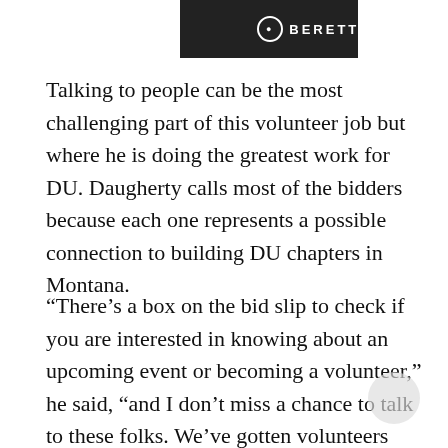[Figure (photo): Dark banner image with Beretta logo text in white on dark background and orange rectangle on right side]
Talking to people can be the most challenging part of this volunteer job but where he is doing the greatest work for DU. Daugherty calls most of the bidders because each one represents a possible connection to building DU chapters in Montana.
“There’s a box on the bid slip to check if you are interested in knowing about an upcoming event or becoming a volunteer,” he said, “and I don’t miss a chance to talk to these folks. We’ve gotten volunteers this way and even started a chapter with these calls. Through the SBA program, we were able to start a chapter in Seeley Lake (Montana), and they’ve raised